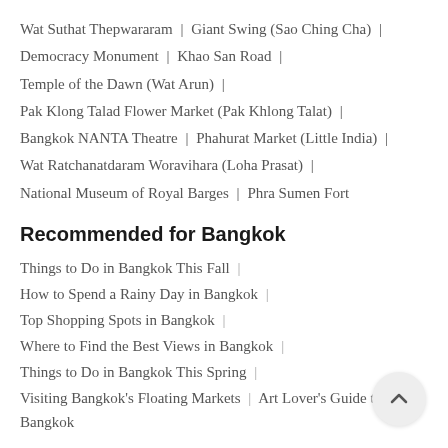Wat Suthat Thepwararam | Giant Swing (Sao Ching Cha) |
Democracy Monument | Khao San Road |
Temple of the Dawn (Wat Arun) |
Pak Klong Talad Flower Market (Pak Khlong Talat) |
Bangkok NANTA Theatre | Phahurat Market (Little India) |
Wat Ratchanatdaram Woravihara (Loha Prasat) |
National Museum of Royal Barges | Phra Sumen Fort
Recommended for Bangkok
Things to Do in Bangkok This Fall |
How to Spend a Rainy Day in Bangkok |
Top Shopping Spots in Bangkok |
Where to Find the Best Views in Bangkok |
Things to Do in Bangkok This Spring |
Visiting Bangkok's Floating Markets | Art Lover's Guide to Bangkok